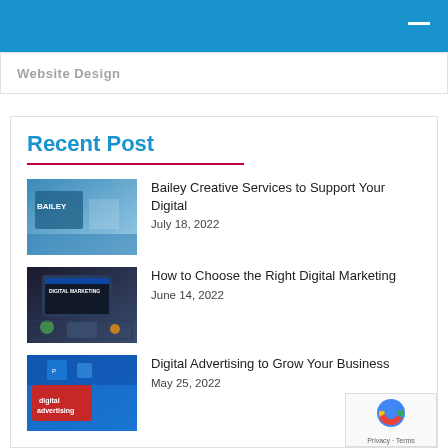Website Design
Recent Post
Bailey Creative Services to Support Your Digital
July 18, 2022
How to Choose the Right Digital Marketing
June 14, 2022
Digital Advertising to Grow Your Business
May 25, 2022